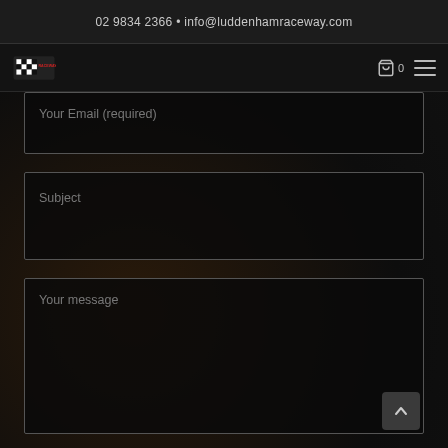02 9834 2366 • info@luddenhamraceway.com
[Figure (logo): Luddenham Raceway logo with checkered flag motif]
Your Email (required)
Subject
Your message